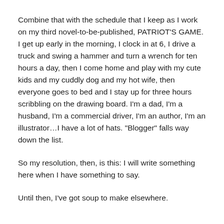Combine that with the schedule that I keep as I work on my third novel-to-be-published, PATRIOT’S GAME. I get up early in the morning, I clock in at 6, I drive a truck and swing a hammer and turn a wrench for ten hours a day, then I come home and play with my cute kids and my cuddly dog and my hot wife, then everyone goes to bed and I stay up for three hours scribbling on the drawing board. I’m a dad, I’m a husband, I’m a commercial driver, I’m an author, I’m an illustrator…I have a lot of hats. “Blogger” falls way down the list.
So my resolution, then, is this: I will write something here when I have something to say.
Until then, I’ve got soup to make elsewhere.